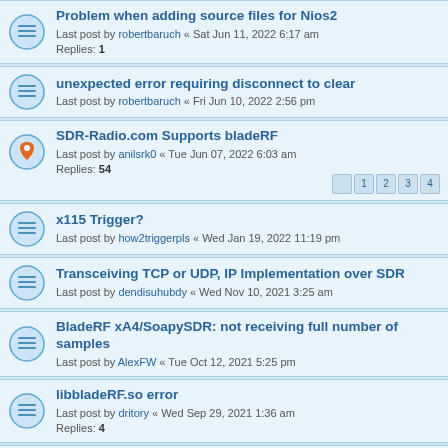Problem when adding source files for Nios2
Last post by robertbaruch « Sat Jun 11, 2022 6:17 am
Replies: 1
unexpected error requiring disconnect to clear
Last post by robertbaruch « Fri Jun 10, 2022 2:56 pm
SDR-Radio.com Supports bladeRF
Last post by anilsrk0 « Tue Jun 07, 2022 6:03 am
Replies: 54
x115 Trigger?
Last post by how2triggerpls « Wed Jan 19, 2022 11:19 pm
Transceiving TCP or UDP, IP Implementation over SDR
Last post by dendisuhubdy « Wed Nov 10, 2021 3:25 am
BladeRF xA4/SoapySDR: not receiving full number of samples
Last post by AlexFW « Tue Oct 12, 2021 5:25 pm
libbladeRF.so error
Last post by dritory « Wed Sep 29, 2021 1:36 am
Replies: 4
somthing wrong with bladeRF 2.0 micro xA4 TX
Last post by marsyua « Thu Sep 23, 2021 6:12 pm
Replies: 2
New to SDR, BladeRF 2.0 xA4 gain question
Last post by danKen01 « Sat Sep 04, 2021 8:21 pm
bladeRF Micro 2 - basic setup and visual studio libraries